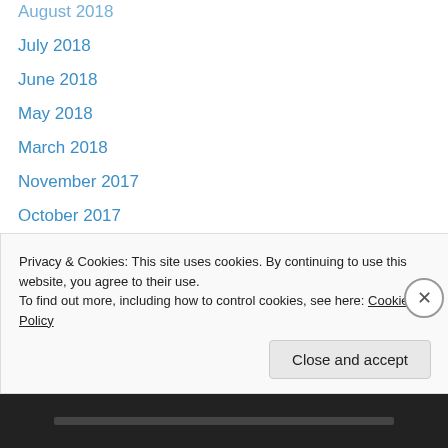August 2018
July 2018
June 2018
May 2018
March 2018
November 2017
October 2017
September 2017
August 2017
July 2017
April 2017
March 2017
January 2017
December 2016
Privacy & Cookies: This site uses cookies. By continuing to use this website, you agree to their use.
To find out more, including how to control cookies, see here: Cookie Policy
Close and accept